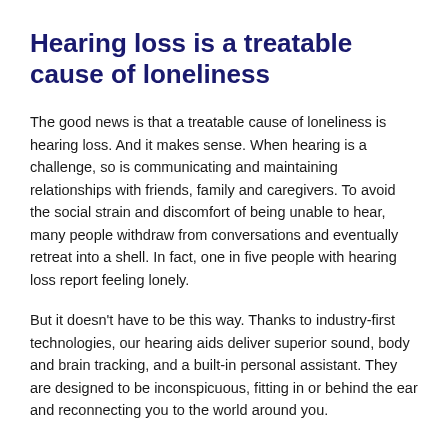Hearing loss is a treatable cause of loneliness
The good news is that a treatable cause of loneliness is hearing loss. And it makes sense. When hearing is a challenge, so is communicating and maintaining relationships with friends, family and caregivers. To avoid the social strain and discomfort of being unable to hear, many people withdraw from conversations and eventually retreat into a shell. In fact, one in five people with hearing loss report feeling lonely.
But it doesn't have to be this way. Thanks to industry-first technologies, our hearing aids deliver superior sound, body and brain tracking, and a built-in personal assistant. They are designed to be inconspicuous, fitting in or behind the ear and reconnecting you to the world around you.